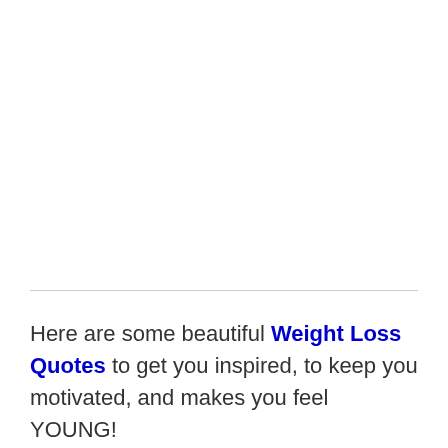Here are some beautiful Weight Loss Quotes to get you inspired, to keep you motivated, and makes you feel YOUNG!